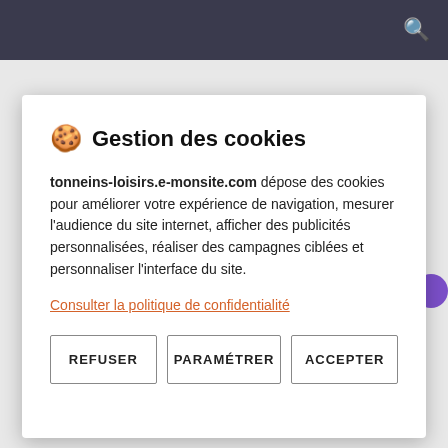GÉNÉRALITÉS
LES APPRENTISSAGES
🍪 Gestion des cookies
tonneins-loisirs.e-monsite.com dépose des cookies pour améliorer votre expérience de navigation, mesurer l'audience du site internet, afficher des publicités personnalisées, réaliser des campagnes ciblées et personnaliser l'interface du site.
Consulter la politique de confidentialité
REFUSER | PARAMÉTRER | ACCEPTER